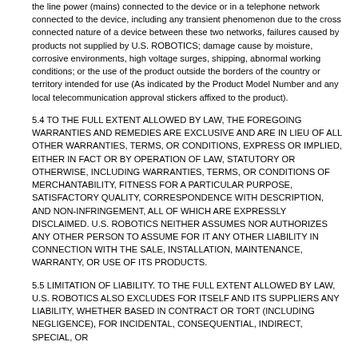the line power (mains) connected to the device or in a telephone network connected to the device, including any transient phenomenon due to the cross connected nature of a device between these two networks, failures caused by products not supplied by U.S. ROBOTICS; damage cause by moisture, corrosive environments, high voltage surges, shipping, abnormal working conditions; or the use of the product outside the borders of the country or territory intended for use (As indicated by the Product Model Number and any local telecommunication approval stickers affixed to the product).
5.4 TO THE FULL EXTENT ALLOWED BY LAW, THE FOREGOING WARRANTIES AND REMEDIES ARE EXCLUSIVE AND ARE IN LIEU OF ALL OTHER WARRANTIES, TERMS, OR CONDITIONS, EXPRESS OR IMPLIED, EITHER IN FACT OR BY OPERATION OF LAW, STATUTORY OR OTHERWISE, INCLUDING WARRANTIES, TERMS, OR CONDITIONS OF MERCHANTABILITY, FITNESS FOR A PARTICULAR PURPOSE, SATISFACTORY QUALITY, CORRESPONDENCE WITH DESCRIPTION, AND NON-INFRINGEMENT, ALL OF WHICH ARE EXPRESSLY DISCLAIMED. U.S. ROBOTICS NEITHER ASSUMES NOR AUTHORIZES ANY OTHER PERSON TO ASSUME FOR IT ANY OTHER LIABILITY IN CONNECTION WITH THE SALE, INSTALLATION, MAINTENANCE, WARRANTY, OR USE OF ITS PRODUCTS.
5.5 LIMITATION OF LIABILITY. TO THE FULL EXTENT ALLOWED BY LAW, U.S. ROBOTICS ALSO EXCLUDES FOR ITSELF AND ITS SUPPLIERS ANY LIABILITY, WHETHER BASED IN CONTRACT OR TORT (INCLUDING NEGLIGENCE), FOR INCIDENTAL, CONSEQUENTIAL, INDIRECT, SPECIAL, OR